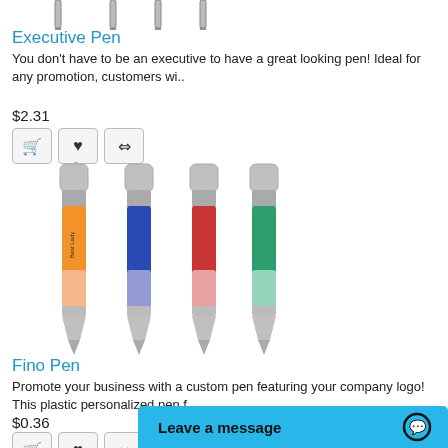[Figure (photo): Executive pens - partial image at top (pen clips/tips visible at top edge)]
Executive Pen
You don't have to be an executive to have a great looking pen! Ideal for any promotion, customers wi..
$2.31
[Figure (illustration): Shopping cart, heart, and compare icon buttons]
[Figure (photo): Four Fino Pens in orange, blue, red, and green colors with silver accents]
Fino Pen
Promote your business with a custom pen featuring your company logo! This plastic personalized pen f..
$0.36
[Figure (illustration): Shopping cart, heart, and compare icon buttons (bottom row)]
Leave a message